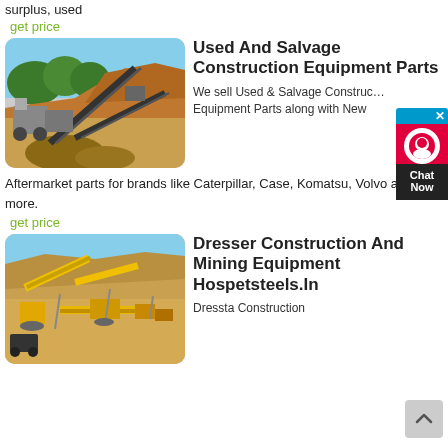surplus, used
get price
[Figure (photo): Construction/mining equipment with conveyor belts at a quarry or mining site, orange/brown earth, trees in background]
Used And Salvage Construction Equipment Parts
We sell Used & Salvage Construction Equipment Parts along with New Aftermarket parts for brands like Caterpillar, Case, Komatsu, Volvo and more.
get price
[Figure (photo): Yellow construction and mining equipment/machinery at an open mining site with desert landscape]
Dresser Construction And Mining Equipment Hospetsteels.In
Dressta Construction